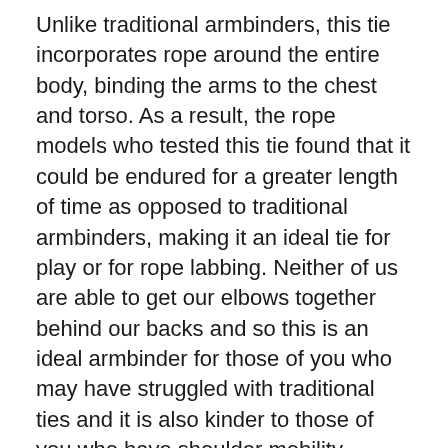Unlike traditional armbinders, this tie incorporates rope around the entire body, binding the arms to the chest and torso. As a result, the rope models who tested this tie found that it could be endured for a greater length of time as opposed to traditional armbinders, making it an ideal tie for play or for rope labbing. Neither of us are able to get our elbows together behind our backs and so this is an ideal armbinder for those of you who may have struggled with traditional ties and it is also kinder to those of you who have shoulder mobility issues.
This tie requires good tension throughout. We have used both forward/reverse and open/closed